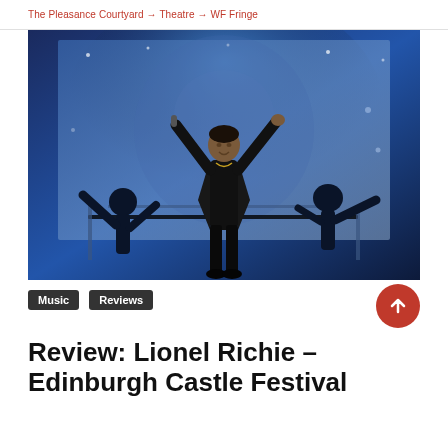The Pleasance Courtyard → Theatre → WF Fringe
[Figure (photo): Concert performer in black clothing standing on stage with arms raised wide, holding microphone, with dramatic blue lighting and silhouetted dancers/musicians behind him.]
Music
Reviews
Review: Lionel Richie – Edinburgh Castle Festival